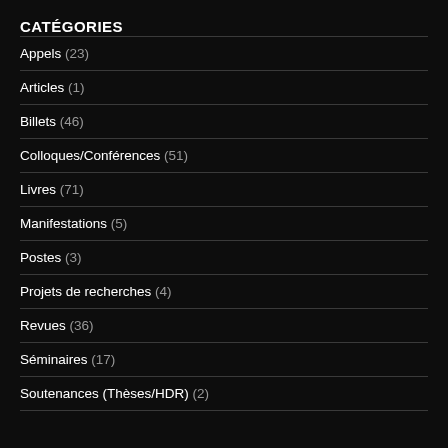CATÉGORIES
Appels (23)
Articles (1)
Billets (46)
Colloques/Conférences (51)
Livres (71)
Manifestations (5)
Postes (3)
Projets de recherches (4)
Revues (36)
Séminaires (17)
Soutenances (Thèses/HDR) (2)